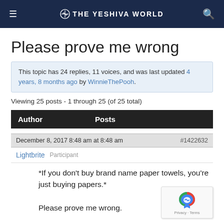THE YESHIVA WORLD
Please prove me wrong
This topic has 24 replies, 11 voices, and was last updated 4 years, 8 months ago by WinnieThePooh.
Viewing 25 posts - 1 through 25 (of 25 total)
| Author | Posts |
| --- | --- |
December 8, 2017 8:48 am at 8:48 am                                           #1422632
Lightbrite  Participant
*If you don’t buy brand name paper towels, you’re just buying papers.*

Please prove me wrong.